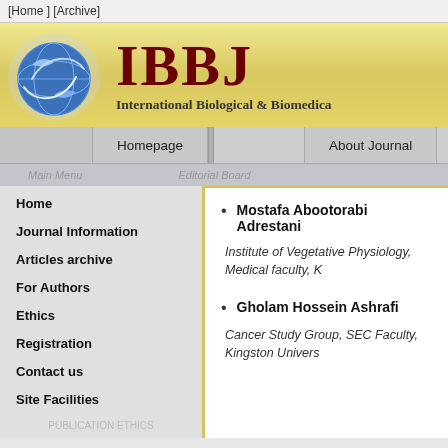[Home ] [Archive]
[Figure (logo): IBBJ journal logo with globe and fish icon, International Biological & Biomedical Journal header banner]
Homepage | About Journal
Main Menu | Editorial Board
Home
Journal Information
Articles archive
For Authors
Ethics
Registration
Contact us
Site Facilities
PUBLICATION ETHICS
Mostafa Abootorabi Adrestani
Institute of Vegetative Physiology, Medical faculty, K...
Gholam Hossein Ashrafi
Cancer Study Group, SEC Faculty, Kingston Univers...